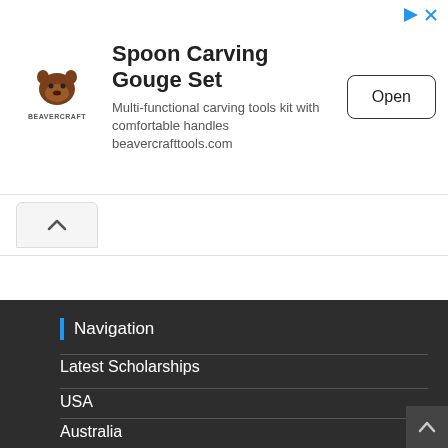[Figure (other): BeaverCraft logo — stylized beaver icon above text BEAVERCRAFT]
Spoon Carving Gouge Set
Multi-functional carving tools kit with comfortable handles beavercrafttools.com
Open
Navigation
Latest Scholarships
USA
Australia
UK